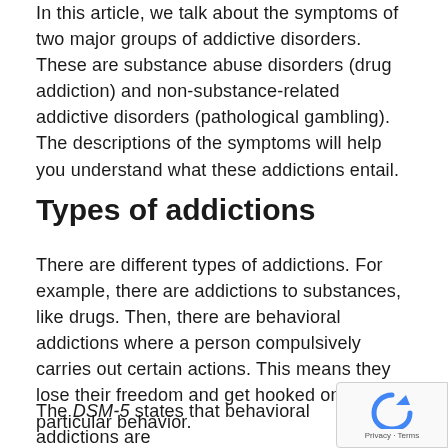In this article, we talk about the symptoms of two major groups of addictive disorders. These are substance abuse disorders (drug addiction) and non-substance-related addictive disorders (pathological gambling). The descriptions of the symptoms will help you understand what these addictions entail.
Types of addictions
There are different types of addictions. For example, there are addictions to substances, like drugs. Then, there are behavioral addictions where a person compulsively carries out certain actions. This means they lose their freedom and get hooked on that particular behavior.
The DSM-5 states that behavioral addictions are not related to substances. For example, pathological